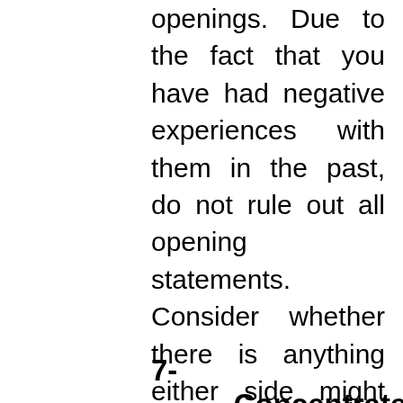openings. Due to the fact that you have had negative experiences with them in the past, do not rule out all opening statements. Consider whether there is anything either side might claim that would certainly be efficient. Prevent claiming alienating points, as well as say hard things in the least pushing away way possible. Set guideline to avoid striking openings. Bear in mind that preventing claiming unwelcome things, by having the mediator state them, simply moves the various other celebration's resentment from advice to the mediator.
7-          Concentrate    on